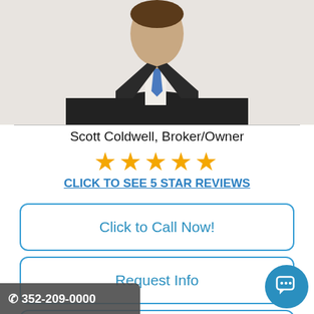[Figure (photo): Photo of Scott Coldwell in dark suit, cropped at torso level]
Scott Coldwell, Broker/Owner
[Figure (infographic): Five gold star rating icons]
CLICK TO SEE 5 STAR REVIEWS
Click to Call Now!
Request Info
Get an Offer on Your Home
352-209-0000
Our Guarantees